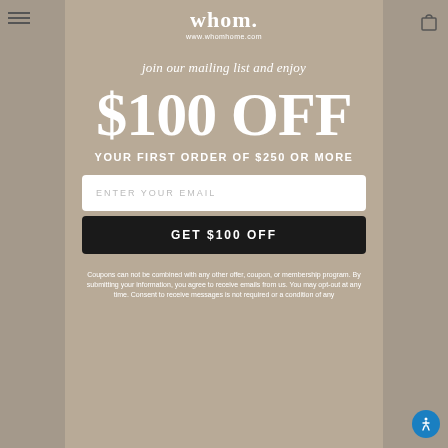[Figure (logo): whom. brand logo with www.whomhome.com URL]
join our mailing list and enjoy
$100 OFF
YOUR FIRST ORDER OF $250 OR MORE
ENTER YOUR EMAIL
GET $100 OFF
Coupons can not be combined with any other offer, coupon, or membership program. By submitting your information, you agree to receive emails from us. You may opt-out at any time. Consent to receive messages is not required or a condition of any